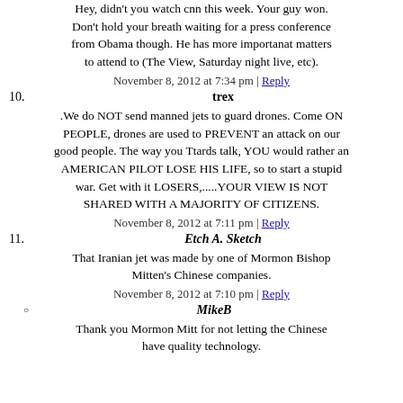Hey, didn't you watch cnn this week. Your guy won. Don't hold your breath waiting for a press conference from Obama though. He has more importanat matters to attend to (The View, Saturday night live, etc).
November 8, 2012 at 7:34 pm | Reply
10. trex
.We do NOT send manned jets to guard drones. Come ON PEOPLE, drones are used to PREVENT an attack on our good people. The way you Ttards talk, YOU would rather an AMERICAN PILOT LOSE HIS LIFE, so to start a stupid war. Get with it LOSERS,.....YOUR VIEW IS NOT SHARED WITH A MAJORITY OF CITIZENS.
November 8, 2012 at 7:11 pm | Reply
11. Etch A. Sketch
That Iranian jet was made by one of Mormon Bishop Mitten's Chinese companies.
November 8, 2012 at 7:10 pm | Reply
MikeB
Thank you Mormon Mitt for not letting the Chinese have quality technology.